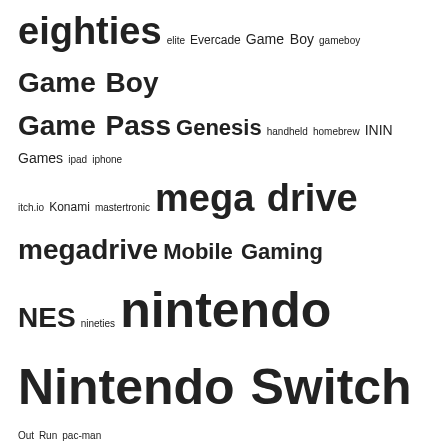eighties elite Evercade Game Boy gameboy Game Boy Game Pass Genesis handheld homebrew ININ Games ipad iphone itch.io Konami mastertronic mega drive megadrive Mobile Gaming NES nineties nintendo Nintendo Switch Out Run pac-man PC PC-Engine pinball PlayStation ps1 PS4 racing resident evil retro games Retro Gaming retrogaming review schmup sega shoot 'em up silent hill sinclair SNES st Star Wars steam stg switch Taito Top Ten vic-20 vic20 Xbox Xbox Series X ZX Spectrum ZX Spectrum
[Figure (other): DuckDuckGo advertisement banner with orange background showing a smartphone with DuckDuckGo logo. Text reads: Search, browse, and email with more privacy. All in One Free App]